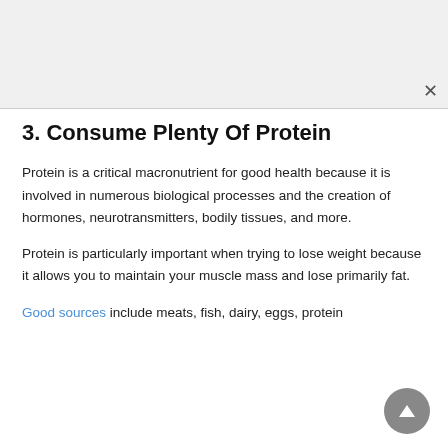3. Consume Plenty Of Protein
Protein is a critical macronutrient for good health because it is involved in numerous biological processes and the creation of hormones, neurotransmitters, bodily tissues, and more.
Protein is particularly important when trying to lose weight because it allows you to maintain your muscle mass and lose primarily fat.
Good sources include meats, fish, dairy, eggs, protein